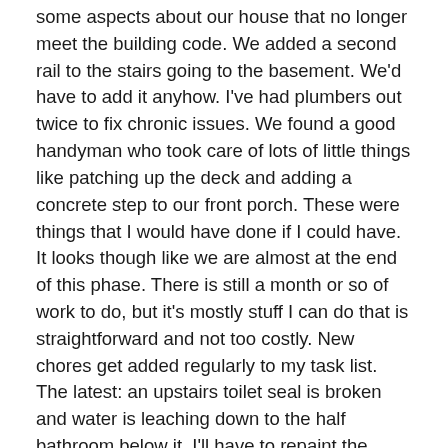some aspects about our house that no longer meet the building code. We added a second rail to the stairs going to the basement. We'd have to add it anyhow. I've had plumbers out twice to fix chronic issues. We found a good handyman who took care of lots of little things like patching up the deck and adding a concrete step to our front porch. These were things that I would have done if I could have. It looks though like we are almost at the end of this phase. There is still a month or so of work to do, but it's mostly stuff I can do that is straightforward and not too costly. New chores get added regularly to my task list. The latest: an upstairs toilet seal is broken and water is leaching down to the half bathroom below it. I'll have to repaint the ceiling of the half bath after the toilet is fixed.
Months ago I complained about how hard it is to remove the clutter and crap in a house you have lived in a long time. We are still at it! There are still boxes of stuff to dump, donate or sell even after innumerable trips to Goodwill. The other day we attacked a closet in our TV room and discovered what my wife called a wardroom to Narnia. In an old trunk were decades of science fiction magazines. There was also a camcorder someone gave to us that we never used, and my 1984